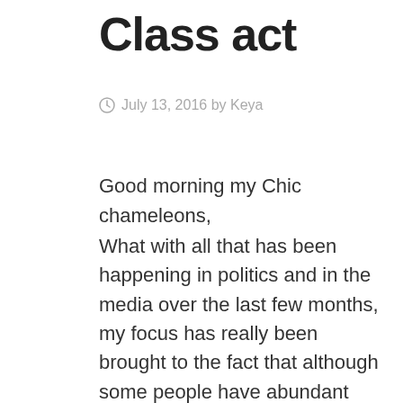Class act
July 13, 2016 by Keya
Good morning my Chic chameleons,
What with all that has been happening in politics and in the media over the last few months, my focus has really been brought to the fact that although some people have abundant levels of resources or money, it still does not buy class or poise. I think these are attributes you are either born with or not, anyone can put on a Chanel jacket but this does not always make you the woman who